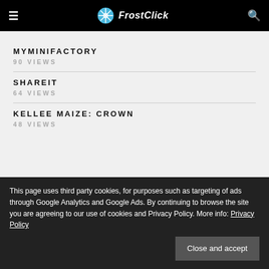FrostClick
MYMINIFACTORY
90 VIEWS
SHAREIT
64 VIEWS
KELLEE MAIZE: CROWN
48 VIEWS
This page uses third party cookies, for purposes such as targeting of ads through Google Analytics and Google Ads. By continuing to browse the site you are agreeing to our use of cookies and Privacy Policy. More info: Privacy Policy
COMMAND & CONQUER: RED ALERT 1